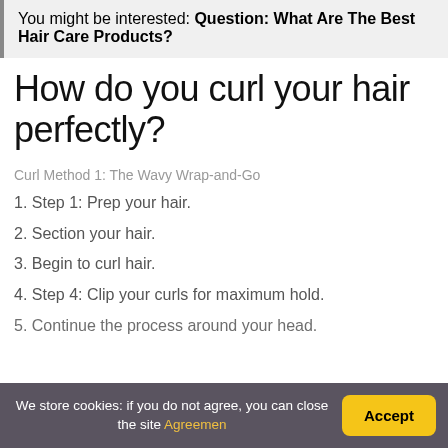You might be interested: Question: What Are The Best Hair Care Products?
How do you curl your hair perfectly?
Curl Method 1: The Wavy Wrap-and-Go
1. Step 1: Prep your hair.
2. Section your hair.
3. Begin to curl hair.
4. Step 4: Clip your curls for maximum hold.
5. Continue the process around your head.
We store cookies: if you do not agree, you can close the site Agreemen